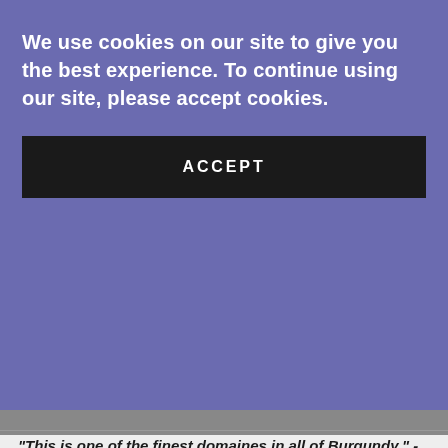We use cookies on our site to give you the best experience. To continue using our site, please accept cookies.
ACCEPT
Gatinoux Pommard Grands Epenots
Posted by Ian McFadden
[Figure (infographic): Social share icons: email, facebook, twitter, pinterest]
"This is one of the finest domaines in all of Burgundy." - Burghound